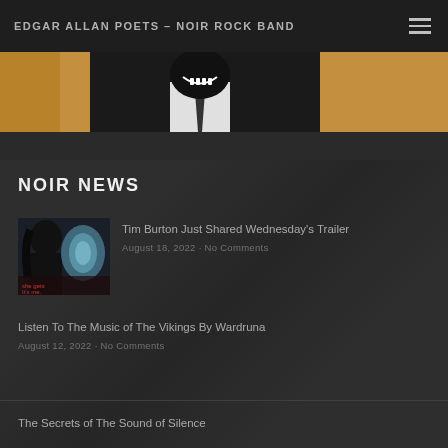EDGAR ALLAN POETS – NOIR ROCK BAND
[Figure (photo): Partial hero image showing a figure in black clothing with a tie against a light background, cropped mid-frame]
NOIR NEWS
Tim Burton Just Shared Wednesday's Trailer — August 18, 2022 · No Comments
Listen To The Music of The Vikings By Wardruna — August 12, 2022 · No Comments
The Secrets of The Sound of Silence